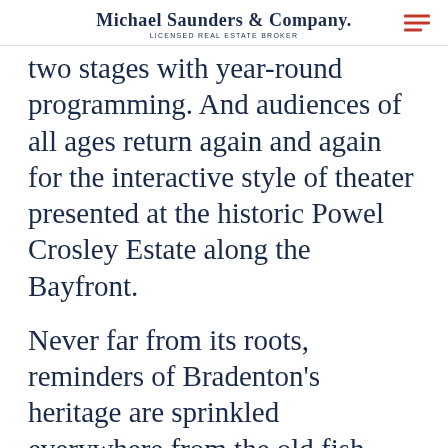Michael Saunders & Company. LICENSED REAL ESTATE BROKER
two stages with year-round programming. And audiences of all ages return again and again for the interactive style of theater presented at the historic Powel Crosley Estate along the Bayfront.
Never far from its roots, reminders of Bradenton's heritage are sprinkled everywhere from the old fish houses at Cortez Historic Fishing Village to traces of the Calusa Indians at De Soto